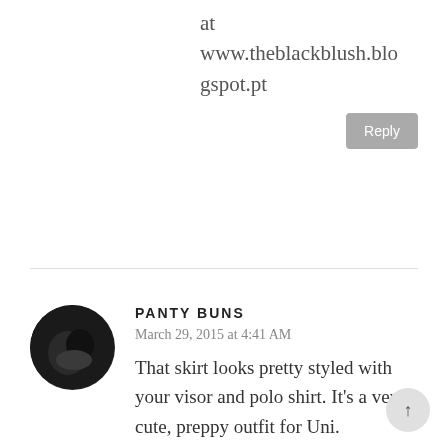at www.theblackblush.blogspot.pt
Reply
PANTY BUNS
March 29, 2015 at 4:41 AM
That skirt looks pretty styled with your visor and polo shirt. It's a very cute, preppy outfit for Uni.
http://www.full-brief-panties.blogspot.com /